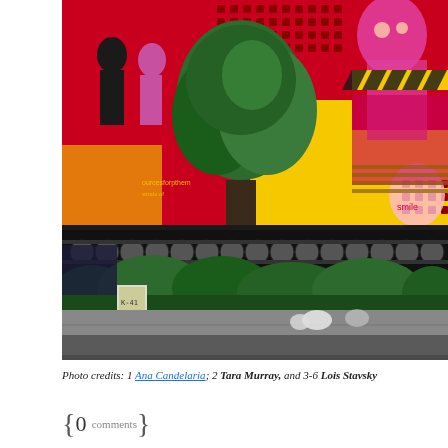[Figure (photo): Street photograph showing a colorful mural on a wall featuring pop-art style figures in red, yellow, pink and magenta. In front of the mural is a black iron fence with circular decorative elements, lush green shrubs and a tree growing in front. The foreground shows a sidewalk/street. The mural depicts human figures, numbers, and graphic design elements in bold colors.]
Photo credits: 1 Ana Candelaria; 2 Tara Murray, and 3-6 Lois Stavsky
{ 0 comments }